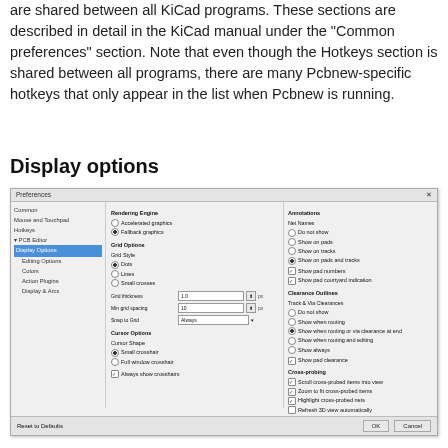are shared between all KiCad programs. These sections are described in detail in the KiCad manual under the "Common preferences" section. Note that even though the Hotkeys section is shared between all programs, there are many Pcbnew-specific hotkeys that only appear in the list when Pcbnew is running.
Display options
[Figure (screenshot): Preferences dialog screenshot showing the Display Options settings for PCB Editor in KiCad, with left navigation tree, rendering engine options (Accelerated graphics, Fallback graphics), grid options, cursor options, annotations, clearance outlines, and cross-probing settings.]